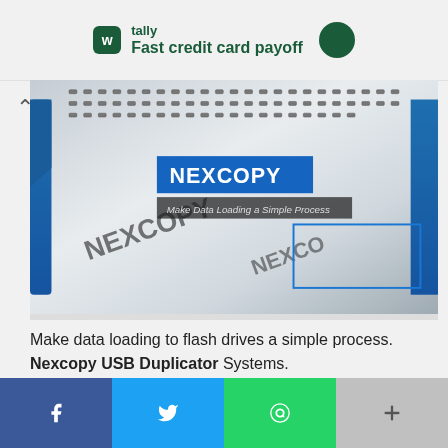[Figure (other): Tally app advertisement banner — tally logo icon (dark green square with W), text 'tally' and 'Fast credit card payoff', with a dark green circle icon on the right]
[Figure (photo): Nexcopy USB Duplicator device — stacked white and blue hardware units with many USB ports visible on top, overlaid with a blue box saying NEXCOPY and a dark semi-transparent box saying Make Data Loading a Simple Process]
Make data loading to flash drives a simple process. Nexcopy USB Duplicator Systems.
[Figure (other): Social share bar with Facebook (blue), Twitter (light blue), WhatsApp (green), and a more (+) button (grey)]